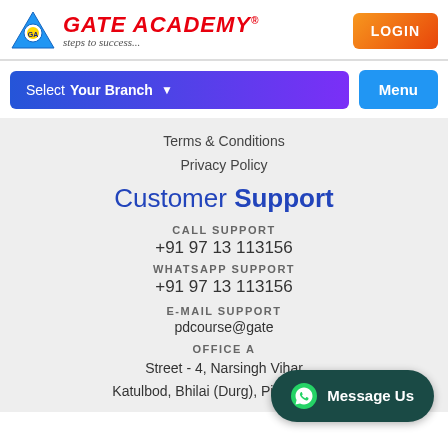GATE ACADEMY® — steps to success...
LOGIN
Select Your Branch ▾
Menu
Terms & Conditions
Privacy Policy
Customer Support
CALL SUPPORT
+91 97 13 113156
WHATSAPP SUPPORT
+91 97 13 113156
E-MAIL SUPPORT
pdcourse@gate
OFFICE A
Street - 4, Narsingh Vihar
Katulbod, Bhilai (Durg), Pin: 490022
[Figure (other): WhatsApp Message Us button overlay]